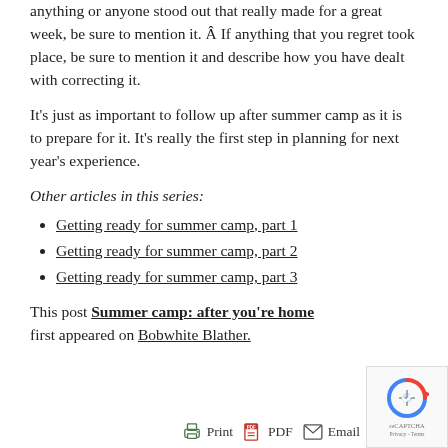anything or anyone stood out that really made for a great week, be sure to mention it. Â If anything that you regret took place, be sure to mention it and describe how you have dealt with correcting it.
It's just as important to follow up after summer camp as it is to prepare for it. It's really the first step in planning for next year's experience.
Other articles in this series:
Getting ready for summer camp, part 1
Getting ready for summer camp, part 2
Getting ready for summer camp, part 3
This post Summer camp: after you're home first appeared on Bobwhite Blather.
Print | PDF | Email